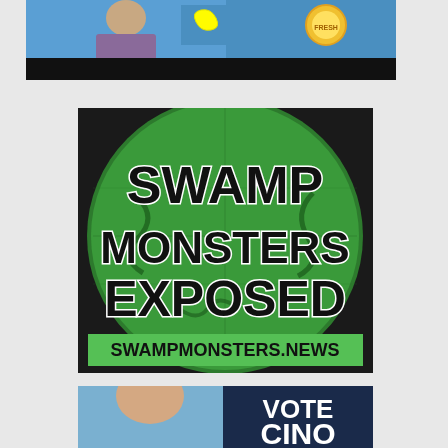[Figure (screenshot): Partial TV screenshot showing a woman in a patterned dress with a Snapchat logo and a circular Fresh Forecast logo, with a black bar at the bottom]
[Figure (illustration): Swamp Monsters Exposed logo: green circular badge with tentacles/swamp creatures, bold black text 'SWAMP MONSTERS EXPOSED' with white outline, and 'SWAMPMONSTERS.NEWS' in black text on green banner at bottom]
[Figure (photo): Partial image showing a bald man on left side and dark navy blue background on right with bold white text reading 'VOTE CINO' (partially visible)]